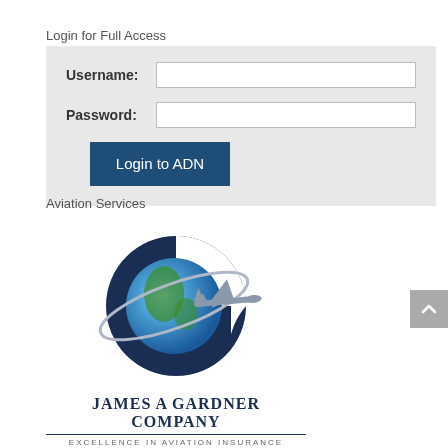Login for Full Access
[Figure (screenshot): Login form with Username and Password fields and a Login to ADN button on a light grey background]
Aviation Services
[Figure (logo): James A Gardner Company logo: a globe with a dark navy G shape and an airplane silhouette, with company name and tagline below]
JAMES A GARDNER COMPANY
EXCELLENCE IN AVIATION INSURANCE
"Earning Your Trust Every Day"